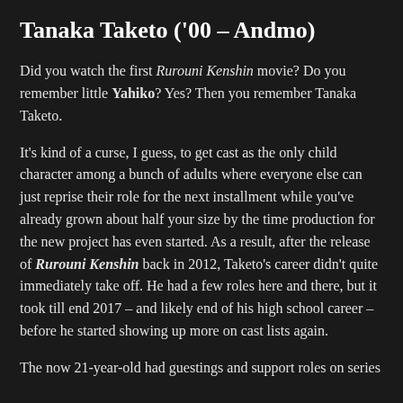Tanaka Taketo ('00 – Andmo)
Did you watch the first Rurouni Kenshin movie? Do you remember little Yahiko? Yes? Then you remember Tanaka Taketo.
It's kind of a curse, I guess, to get cast as the only child character among a bunch of adults where everyone else can just reprise their role for the next installment while you've already grown about half your size by the time production for the new project has even started. As a result, after the release of Rurouni Kenshin back in 2012, Taketo's career didn't quite immediately take off. He had a few roles here and there, but it took till end 2017 – and likely end of his high school career – before he started showing up more on cast lists again.
The now 21-year-old had guestings and support roles on series